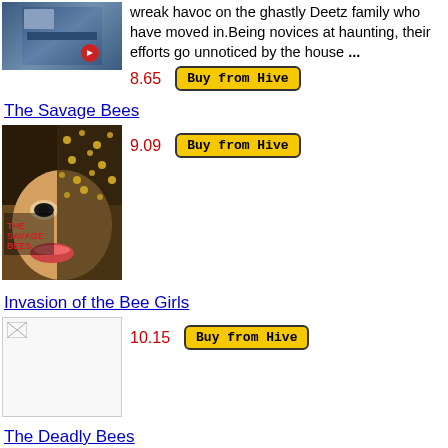wreak havoc on the ghastly Deetz family who have moved in.Being novices at haunting, their efforts go unnoticed by the house ...
8.65
Buy from Hive
The Savage Bees
[Figure (photo): Movie cover for The Savage Bees showing a face partially covered by bees with text THE SAVAGE BEES]
9.09
Buy from Hive
Invasion of the Bee Girls
[Figure (photo): Broken/missing image placeholder for Invasion of the Bee Girls]
10.15
Buy from Hive
The Deadly Bees
[Figure (photo): Blu-ray cover for The Deadly Bees]
British horror based on the novel 'A Taste for